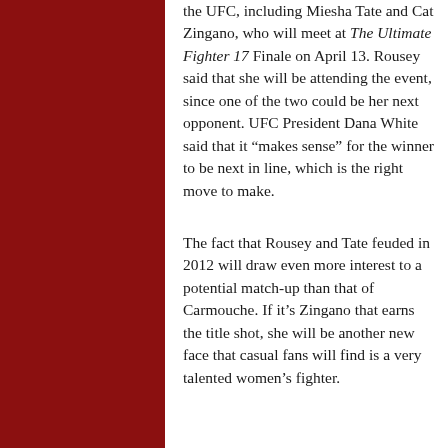the UFC, including Miesha Tate and Cat Zingano, who will meet at The Ultimate Fighter 17 Finale on April 13. Rousey said that she will be attending the event, since one of the two could be her next opponent. UFC President Dana White said that it “makes sense” for the winner to be next in line, which is the right move to make.
The fact that Rousey and Tate feuded in 2012 will draw even more interest to a potential match-up than that of Carmouche. If it’s Zingano that earns the title shot, she will be another new face that casual fans will find is a very talented women’s fighter.
Lyoto Machida vs. Jon Jones-Chael Sonnen winner
The co-main event featured a light heavyweight showcase that pitted Lyoto Machida against